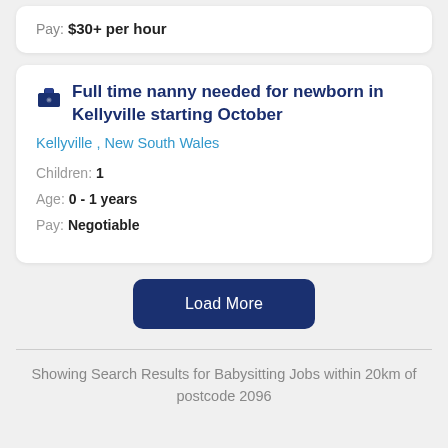Pay: $30+ per hour
Full time nanny needed for newborn in Kellyville starting October
Kellyville , New South Wales
Children: 1
Age: 0 - 1 years
Pay: Negotiable
Load More
Showing Search Results for Babysitting Jobs within 20km of postcode 2096